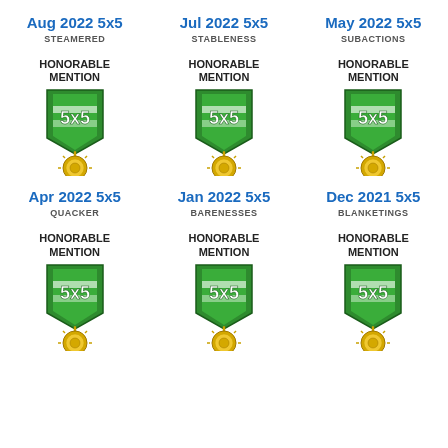Aug 2022 5x5
STEAMERED
Jul 2022 5x5
STABLENESS
May 2022 5x5
SUBACTIONS
HONORABLE MENTION
[Figure (illustration): 5x5 honorable mention badge with green shield and gold medallion]
HONORABLE MENTION
[Figure (illustration): 5x5 honorable mention badge with green shield and gold medallion]
HONORABLE MENTION
[Figure (illustration): 5x5 honorable mention badge with green shield and gold medallion]
Apr 2022 5x5
QUACKER
Jan 2022 5x5
BARENESSES
Dec 2021 5x5
BLANKETINGS
HONORABLE MENTION
[Figure (illustration): 5x5 honorable mention badge with green shield and gold medallion]
HONORABLE MENTION
[Figure (illustration): 5x5 honorable mention badge with green shield and gold medallion]
HONORABLE MENTION
[Figure (illustration): 5x5 honorable mention badge with green shield and gold medallion]